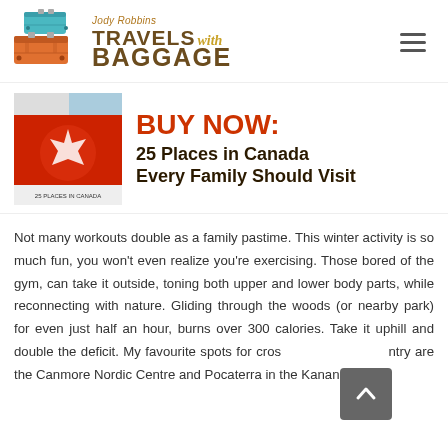Jody Robbins TRAVELS with BAGGAGE
[Figure (logo): Jody Robbins Travels with Baggage logo with stacked suitcases illustration]
BUY NOW: 25 Places in Canada Every Family Should Visit
[Figure (photo): Book cover for 25 Places in Canada Every Family Should Visit]
Not many workouts double as a family pastime. This winter activity is so much fun, you won't even realize you're exercising. Those bored of the gym, can take it outside, toning both upper and lower body parts, while reconnecting with nature. Gliding through the woods (or nearby park) for even just half an hour, burns over 300 calories. Take it uphill and double the deficit. My favourite spots for cross-country are the Canmore Nordic Centre and Pocaterra in the Kananaskis.